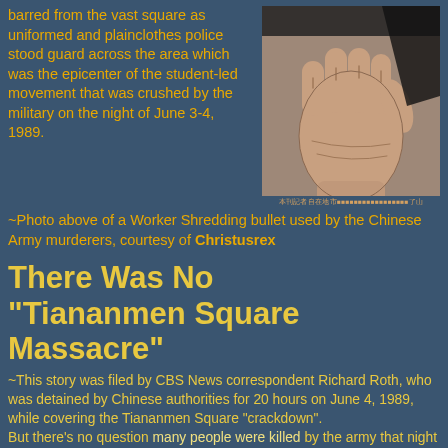barred from the vast square as uniformed and plainclothes police stood guard across the area which was the epicenter of the student-led movement that was crushed by the military on the night of June 3-4, 1989.  ~Photo above of a Worker Shredding bullet used by the Chinese Army murderers, courtesy of Christusrex
[Figure (photo): Close-up photo of a raised fist with black fabric, symbolizing protest or resistance. Chinese text caption below the image.]
There Was No "Tiananmen Square Massacre"
~This story was filed by CBS News correspondent Richard Roth, who was detained by Chinese authorities for 20 hours on June 4, 1989, while covering the Tiananmen Square "crackdown". But there's no question many people were killed by the army that night around Tiananmen Square, and on the way to it —